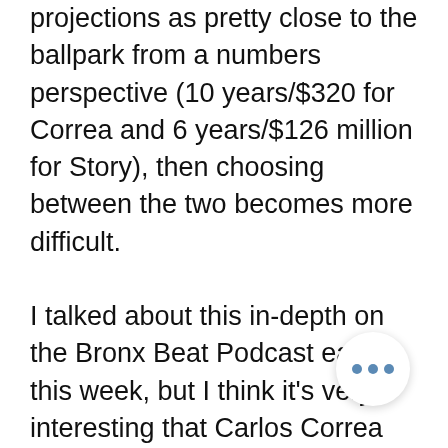projections as pretty close to the ballpark from a numbers perspective (10 years/$320 for Correa and 6 years/$126 million for Story), then choosing between the two becomes more difficult.
I talked about this in-depth on the Bronx Beat Podcast earlier this week, but I think it's very interesting that Carlos Correa gets a pass from the media this offseason for his lack of durability throughout his career while Trevor Story gets hit with the durability storyline as part of any conversation about his Free Agent candidacy.  Correa has been banged up and spent significant time on the IL in every season from 2017-2019 displaying poor performance relative to the standards one would expect from a